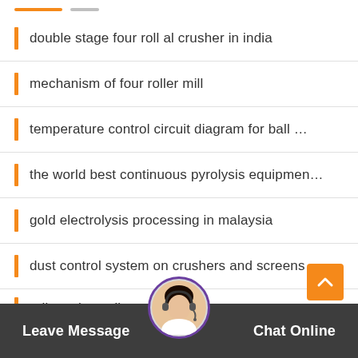double stage four roll al crusher in india
mechanism of four roller mill
temperature control circuit diagram for ball …
the world best continuous pyrolysis equipmen…
gold electrolysis processing in malaysia
dust control system on crushers and screens …
roll crusher adjustm… wing
Leave Message   Chat Online
how to choose a suitable doing machine for p